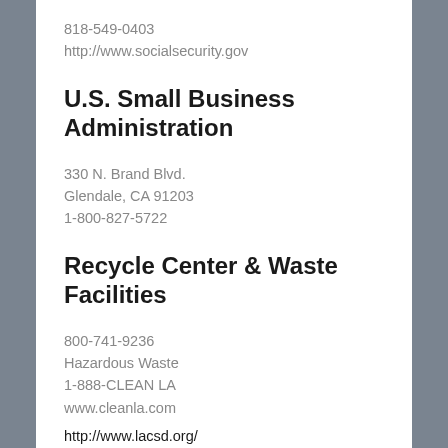818-549-0403
http://www.socialsecurity.gov
U.S. Small Business Administration
330 N. Brand Blvd.
Glendale, CA 91203
1-800-827-5722
Recycle Center & Waste Facilities
800-741-9236
Hazardous Waste
1-888-CLEAN LA
www.cleanla.com
http://www.lacsd.org/